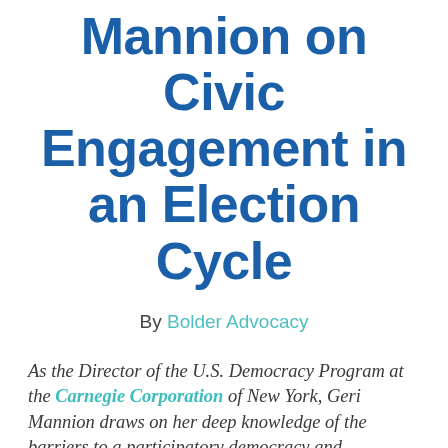Mannion on Civic Engagement in an Election Cycle
By Bolder Advocacy
As the Director of the U.S. Democracy Program at the Carnegie Corporation of New York, Geri Mannion draws on her deep knowledge of the barriers to a participatory democracy and commitment to toppling those barriers. In 2010, The Nonprofit Times called her "a tireless advocate for deepening the nation's civic